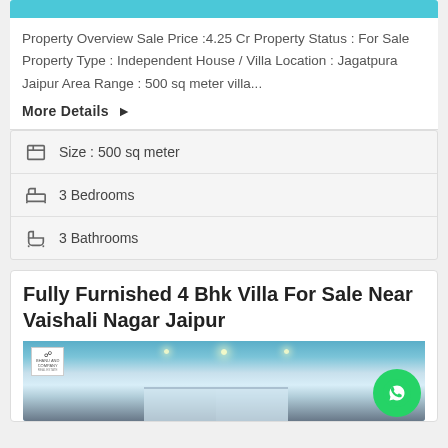Property Overview Sale Price :4.25 Cr Property Status : For Sale Property Type : Independent House / Villa Location : Jagatpura Jaipur Area Range : 500 sq meter villa...
More Details ▶
Size : 500 sq meter
3 Bedrooms
3 Bathrooms
Fully Furnished 4 Bhk Villa For Sale Near Vaishali Nagar Jaipur
[Figure (photo): Interior photo of a villa showing ceiling lights and curtains, with a Bhanu and Company real estate logo in top-left corner]